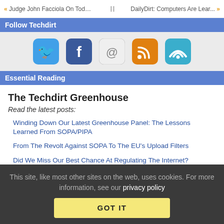« Judge John Facciola On Today'... :: DailyDirt: Computers Are Lear... »
Follow Techdirt
[Figure (infographic): Social media icons: Twitter (blue bird), Facebook (blue f), Email (@), RSS (orange wifi-like), Feedly (teal wifi-like)]
Essential Reading
The Techdirt Greenhouse
Read the latest posts:
Winding Down Our Latest Greenhouse Panel: The Lessons Learned From SOPA/PIPA
From The Revolt Against SOPA To The EU's Upload Filters
Did We Miss Our Best Chance At Regulating The Internet?
This site, like most other sites on the web, uses cookies. For more information, see our privacy policy
GOT IT